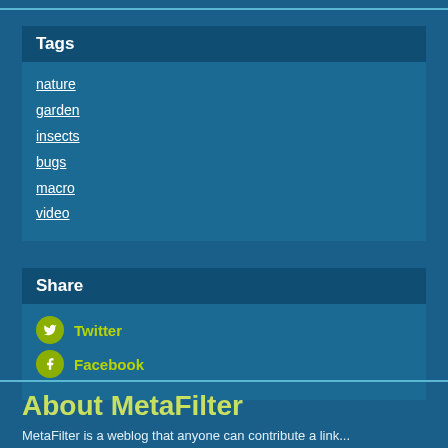Tags
nature
garden
insects
bugs
macro
video
Share
Twitter
Facebook
About MetaFilter
MetaFilter is a weblog that anyone can contribute a link...